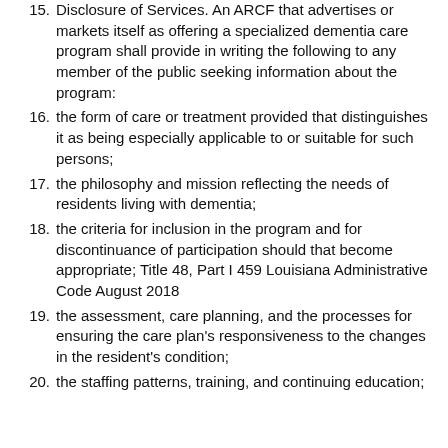15. Disclosure of Services. An ARCF that advertises or markets itself as offering a specialized dementia care program shall provide in writing the following to any member of the public seeking information about the program:
16. the form of care or treatment provided that distinguishes it as being especially applicable to or suitable for such persons;
17. the philosophy and mission reflecting the needs of residents living with dementia;
18. the criteria for inclusion in the program and for discontinuance of participation should that become appropriate; Title 48, Part I 459 Louisiana Administrative Code August 2018
19. the assessment, care planning, and the processes for ensuring the care plan's responsiveness to the changes in the resident's condition;
20. the staffing patterns, training, and continuing education;